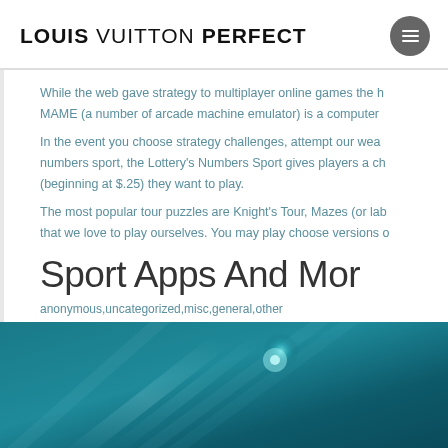LOUIS VUITTON PERFECT
While the web gave strategy to multiplayer online games the h... MAME (a number of arcade machine emulator) is a computer...
In the event you choose strategy challenges, attempt our wea... numbers sport, the Lottery's Numbers Sport gives players a ch... (beginning at $.25) they want to play.
The most popular tour puzzles are Knight's Tour, Mazes (or lab... that we love to play ourselves. You may play choose versions o...
Sport Apps And Mor...
anonymous,uncategorized,misc,general,other
[Figure (photo): Teal/cyan abstract background with light rays and glowing orb effect]